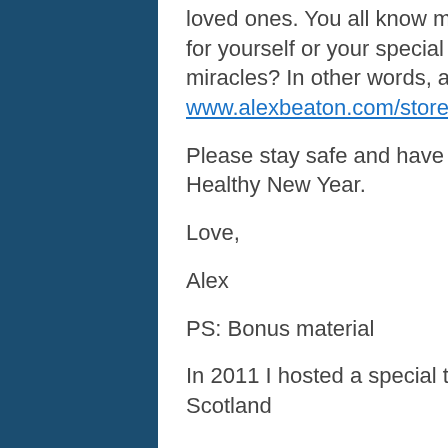loved ones. You all know my sales pitch. I can think of no better gift for yourself or your special someone. Do you believe in Christmas miracles? In other words, am I getting through to you??  Go to www.alexbeaton.com/store/ to find the selections.
Please stay safe and have a wonderful Christmas and a Happy and Healthy New Year.
Love,
Alex
PS: Bonus material
In 2011 I hosted a special tour to the Highlands and Islands of Scotland